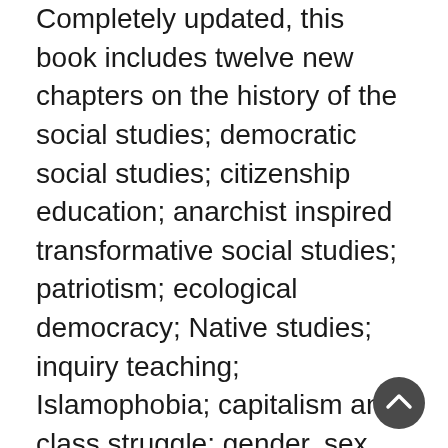Completely updated, this book includes twelve new chapters on the history of the social studies; democratic social studies; citizenship education; anarchist inspired transformative social studies; patriotism; ecological democracy; Native studies; inquiry teaching; Islamophobia; capitalism and class struggle; gender, sex, sexuality, and youth experiences in school; and critical media literacy. All the chapters from the previous edition have been thoroughly revised and updated, including those on teaching social studies in the age of curriculum standardization and high-stakes testing, critical multicultural social studies, prejudice and racism, assessment, and teaching democracy. Readers are encouraged to reconsider thei